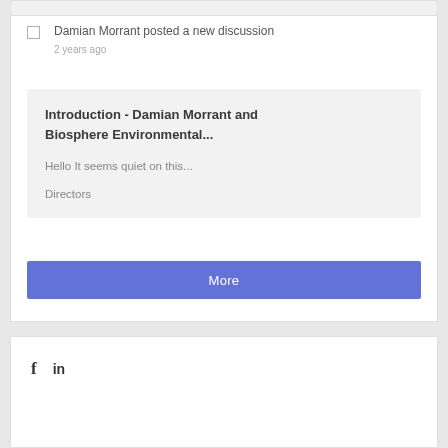Damian Morrant posted a new discussion
2 years ago
Introduction - Damian Morrant and Biosphere Environmental...
Hello It seems quiet on this...
Directors
More
[Figure (screenshot): Social media icons: Facebook (f) and LinkedIn (in)]